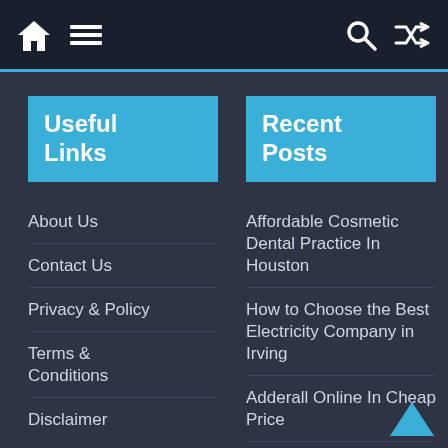Navigation bar with home icon, menu icon, search icon, shuffle icon
Useful Links
About Us
Contact Us
Privacy & Policy
Terms & Conditions
Disclaimer
Recent Posts
Affordable Cosmetic Dental Practice In Houston
How to Choose the Best Electricity Company in Irving
Adderall Online In Cheap Price
Umrah Packages